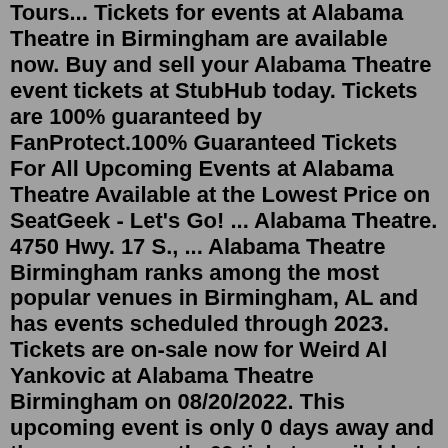Tours... Tickets for events at Alabama Theatre in Birmingham are available now. Buy and sell your Alabama Theatre event tickets at StubHub today. Tickets are 100% guaranteed by FanProtect.100% Guaranteed Tickets For All Upcoming Events at Alabama Theatre Available at the Lowest Price on SeatGeek - Let's Go! ... Alabama Theatre. 4750 Hwy. 17 S., ... Alabama Theatre Birmingham ranks among the most popular venues in Birmingham, AL and has events scheduled through 2023. Tickets are on-sale now for Weird Al Yankovic at Alabama Theatre Birmingham on 08/20/2022. This upcoming event is only 0 days away and there are currently 69 tickets available to purchase. The cheapest tickets start at $22 per ... Alabama Theatre, Birmingham, AL. Buy tickets. $44 — $283. Currently, We The Kingdom tickets start at $44 — $283. We analyze the majority of ticket sites and show you only the best deals.Website to view the repertoire of performances and concerts of the Bolshoi Theatre with the possibility of buying tickets online.Legends In